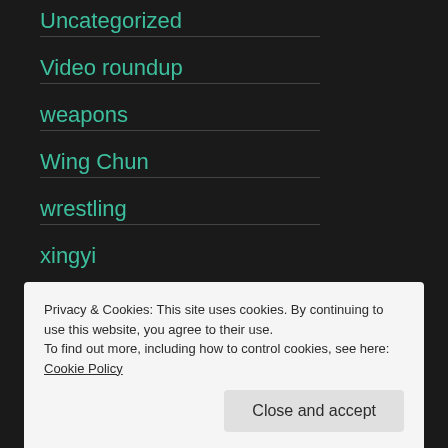Uncategorized
Video roundup
weapons
Wing Chun
wrestling
xingyi
Privacy & Cookies: This site uses cookies. By continuing to use this website, you agree to their use.
To find out more, including how to control cookies, see here: Cookie Policy
Close and accept